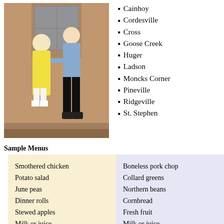[Figure (photo): Two people standing at a doorway, one handing something to the other. An elderly woman in a yellow dress receives something from a person in a blue shirt and dark pants.]
Cainhoy
Cordesville
Cross
Goose Creek
Huger
Ladson
Moncks Corner
Pineville
Ridgeville
St. Stephen
Sample Menus
| Smothered chicken
Potato salad
June peas
Dinner rolls
Stewed apples
Milk or juice | Boneless pork chop
Collard greens
Northern beans
Cornbread
Fresh fruit
Milk or juice |
In Home Care